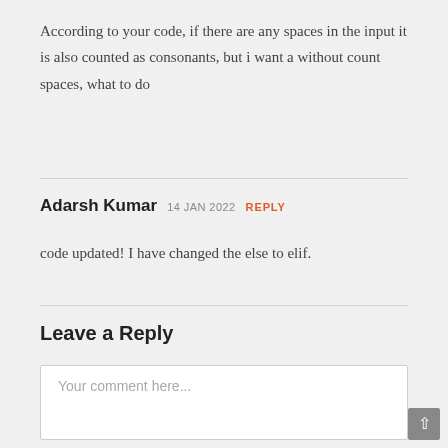According to your code, if there are any spaces in the input it is also counted as consonants, but i want a without count spaces, what to do
Adarsh Kumar 14 JAN 2022 REPLY
code updated! I have changed the else to elif.
Leave a Reply
Your comment here...